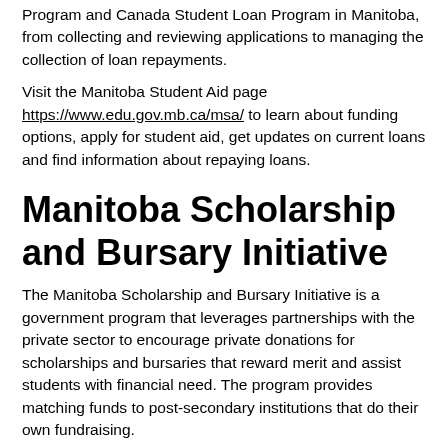Program and Canada Student Loan Program in Manitoba, from collecting and reviewing applications to managing the collection of loan repayments.
Visit the Manitoba Student Aid page https://www.edu.gov.mb.ca/msa/ to learn about funding options, apply for student aid, get updates on current loans and find information about repaying loans.
Manitoba Scholarship and Bursary Initiative
The Manitoba Scholarship and Bursary Initiative is a government program that leverages partnerships with the private sector to encourage private donations for scholarships and bursaries that reward merit and assist students with financial need. The program provides matching funds to post-secondary institutions that do their own fundraising.
Explore the Manitoba Scholarship and Bursary Initiative webpage https://www.edu.gov.mb.ca/msa/msbi/index.html to learn more about the program, participating schools and fund...